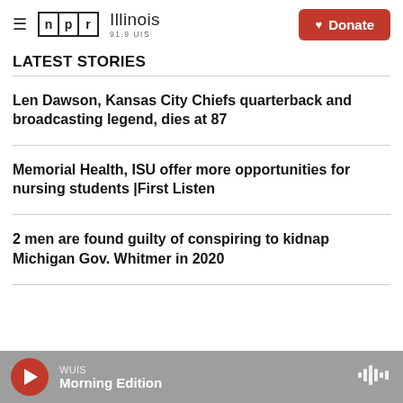NPR Illinois 91.9 UIS — Donate
LATEST STORIES
Len Dawson, Kansas City Chiefs quarterback and broadcasting legend, dies at 87
Memorial Health, ISU offer more opportunities for nursing students |First Listen
2 men are found guilty of conspiring to kidnap Michigan Gov. Whitmer in 2020
WUIS — Morning Edition